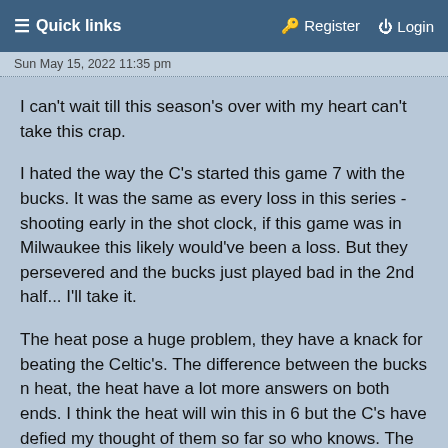≡ Quick links   Register   Login
Sun May 15, 2022 11:35 pm
I can't wait till this season's over with my heart can't take this crap.
I hated the way the C's started this game 7 with the bucks. It was the same as every loss in this series - shooting early in the shot clock, if this game was in Milwaukee this likely would've been a loss. But they persevered and the bucks just played bad in the 2nd half... I'll take it.
The heat pose a huge problem, they have a knack for beating the Celtic's. The difference between the bucks n heat, the heat have a lot more answers on both ends. I think the heat will win this in 6 but the C's have defied my thought of them so far so who knows. The Heat just scare me.